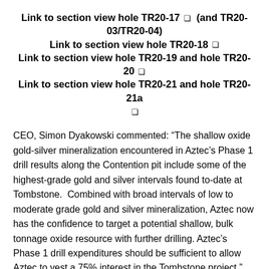Link to section view hole TR20-17 ᶦ (and TR20-03/TR20-04)
Link to section view hole TR20-18 ᶦ
Link to section view hole TR20-19 and hole TR20-20 ᶦ
Link to section view hole TR20-21 and hole TR20-21a ᶦ
CEO, Simon Dyakowski commented: “The shallow oxide gold-silver mineralization encountered in Aztec’s Phase 1 drill results along the Contention pit include some of the highest-grade gold and silver intervals found to-date at Tombstone.  Combined with broad intervals of low to moderate grade gold and silver mineralization, Aztec now has the confidence to target a potential shallow, bulk tonnage oxide resource with further drilling. Aztec’s Phase 1 drill expenditures should be sufficient to allow Aztec to vest a 75% interest in the Tombstone project.”